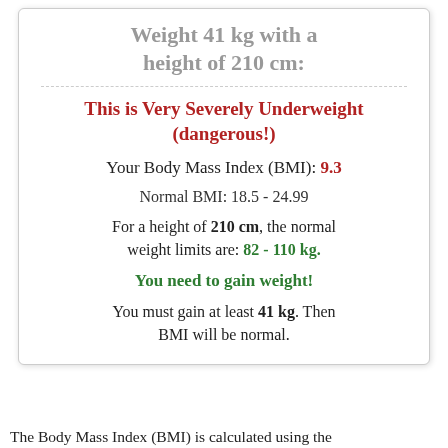Weight 41 kg with a height of 210 cm:
This is Very Severely Underweight (dangerous!)
Your Body Mass Index (BMI): 9.3
Normal BMI: 18.5 - 24.99
For a height of 210 cm, the normal weight limits are: 82 - 110 kg.
You need to gain weight!
You must gain at least 41 kg. Then BMI will be normal.
The Body Mass Index (BMI) is calculated using the